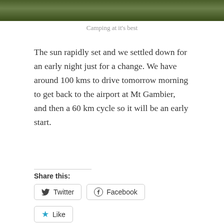[Figure (photo): Top strip of a photo showing camping/outdoor scene with greenery and a path]
Camping at it's best
The sun rapidly set and we settled down for an early night just for a change. We have around 100 kms to drive tomorrow morning to get back to the airport at Mt Gambier, and then a 60 km cycle so it will be an early start.
Share this:
Twitter
Facebook
Like
Be the first to like this.